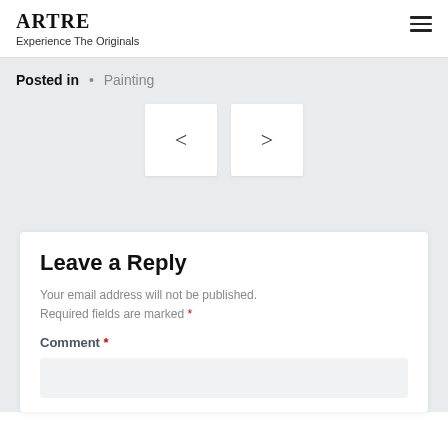ARTRE
Experience The Originals
Posted in • Painting
[Figure (other): Two navigation buttons with left and right chevron arrows for post navigation]
Leave a Reply
Your email address will not be published. Required fields are marked *
Comment *